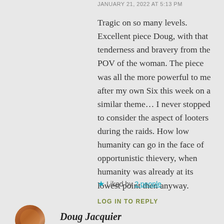JANUARY 21, 2022 AT 5:13 PM
Tragic on so many levels. Excellent piece Doug, with that tenderness and bravery from the POV of the woman. The piece was all the more powerful to me after my own Six this week on a similar theme… I never stopped to consider the aspect of looters during the raids. How low humanity can go in the face of opportunistic thievery, when humanity was already at its lowest point then anyway.
★ Liked by 2 people
LOG IN TO REPLY
Doug Jacquier